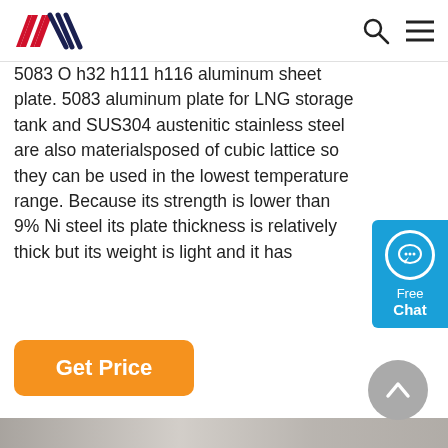ANN logo with search and menu icons
5083 O h32 h111 h116 aluminum sheet plate. 5083 aluminum plate for LNG storage tank and SUS304 austenitic stainless steel are also materialsposed of cubic lattice so they can be used in the lowest temperature range. Because its strength is lower than 9% Ni steel its plate thickness is relatively thick but its weight is light and it has
[Figure (other): Orange 'Get Price' button]
[Figure (photo): Partial photograph of industrial aluminum sheet or related material]
[Figure (other): Blue 'Free Chat' widget on right side]
[Figure (other): Grey circular back-to-top arrow button]